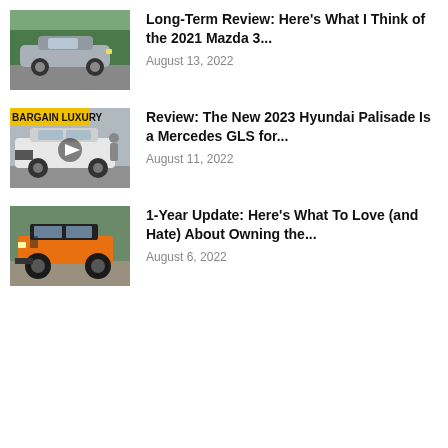[Figure (photo): Gray Mazda 3 sedan on a road with green trees in background]
Long-Term Review: Here's What I Think of the 2021 Mazda 3...
August 13, 2022
[Figure (photo): Hyundai Palisade SUV with yellow BARGAIN LUXURY banner text overlay, play button icon, person standing next to vehicle]
Review: The New 2023 Hyundai Palisade Is a Mercedes GLS for...
August 11, 2022
[Figure (photo): Orange Ford Bronco off-road SUV parked on gravel]
1-Year Update: Here's What To Love (and Hate) About Owning the...
August 6, 2022